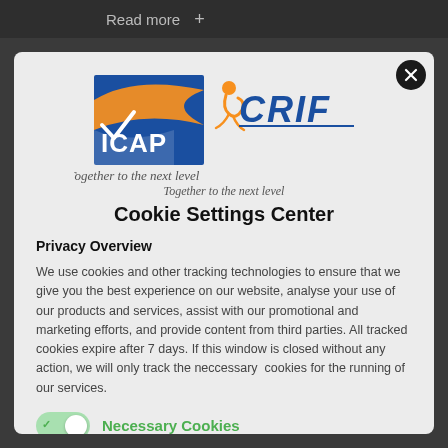Read more   +
[Figure (logo): ICAP CRIF logo with tagline 'Together to the next level']
Cookie Settings Center
Privacy Overview
We use cookies and other tracking technologies to ensure that we give you the best experience on our website, analyse your use of our products and services, assist with our promotional and marketing efforts, and provide content from third parties. All tracked cookies expire after 7 days. If this window is closed without any action, we will only track the neccessary  cookies for the running of our services.
Necessary Cookies